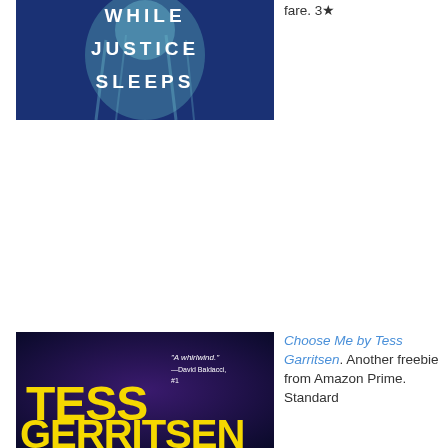[Figure (photo): Book cover for 'While Justice Sleeps' showing a blue/teal toned statue of Justice with the title text in white letters]
fare. 3★
[Figure (photo): Book cover for 'Choose Me' by Tess Gerritsen showing yellow bold text 'TESS GERRITSEN' on dark background with quote from David Baldacci]
Choose Me by Tess Garritsen. Another freebie from Amazon Prime. Standard